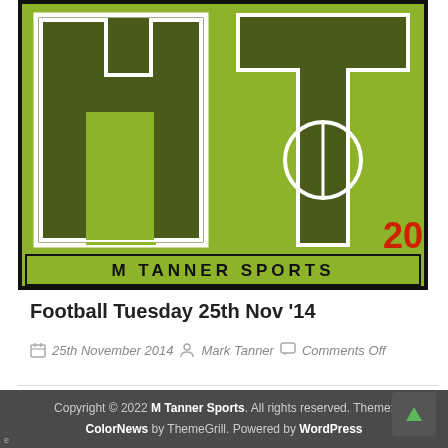[Figure (logo): M Tanner Sports logo — dark olive and bright green block letter M and T shapes with football pitch circle, white outlines, 'M TANNER SPORTS' text on green banner, red '20' numeral in corner]
Football Tuesday 25th Nov '14
25th November 2014  Mark Tanner  Comments Off
Copyright © 2022 M Tanner Sports. All rights reserved. Theme: ColorNews by ThemeGrill. Powered by WordPress